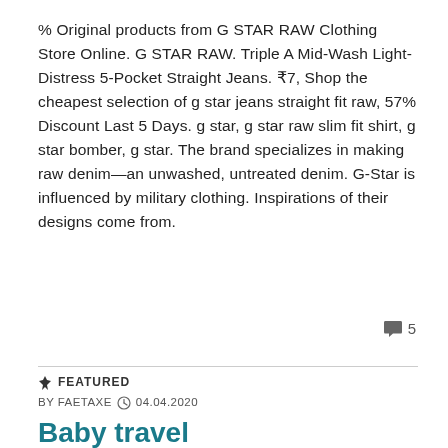% Original products from G STAR RAW Clothing Store Online. G STAR RAW. Triple A Mid-Wash Light-Distress 5-Pocket Straight Jeans. ₹7, Shop the cheapest selection of g star jeans straight fit raw, 57% Discount Last 5 Days. g star, g star raw slim fit shirt, g star bomber, g star. The brand specializes in making raw denim—an unwashed, untreated denim. G-Star is influenced by military clothing. Inspirations of their designs come from.
💬 5
📌 FEATURED
BY FAETAXE 🕐 04.04.2020
Baby travel
Feb 28, - Tips and tricks for traveling with baby on plane and road. Do not let setting off on a long-haul with a baby or toddler daunting.